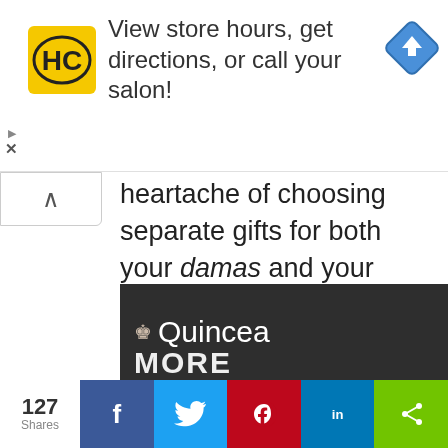[Figure (screenshot): Advertisement banner for Hair Club (HC logo on yellow background) with text 'View store hours, get directions, or call your salon!' and a blue navigation diamond icon on the right]
heartache of choosing separate gifts for both your damas and your chambelanes, consider a unisex gift. Maybe personalize a custom hat, duffle bag, or even a pop-socket for your quince c... they will alwa... these gifts wi...
[Figure (screenshot): Video overlay popup with title 'Top Videos: - Stylish Backpacks & Bags...' with close button X, showing black video player with orange mute button and teal loading spinner]
[Figure (screenshot): Quincea (Quinceañera) brand dark banner partially visible]
[Figure (screenshot): Social share bar with 127 Shares count, Facebook, Twitter, Pinterest, LinkedIn, and share buttons]